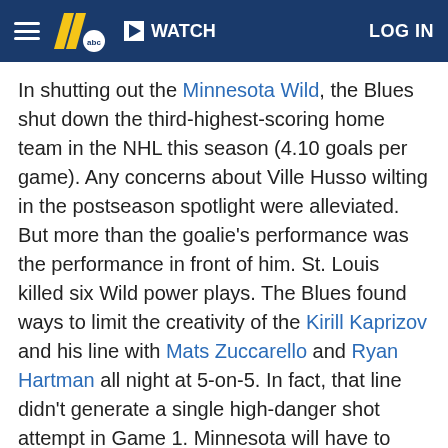WATCH  LOG IN
In shutting out the Minnesota Wild, the Blues shut down the third-highest-scoring home team in the NHL this season (4.10 goals per game). Any concerns about Ville Husso wilting in the postseason spotlight were alleviated. But more than the goalie's performance was the performance in front of him. St. Louis killed six Wild power plays. The Blues found ways to limit the creativity of the Kirill Kaprizov and his line with Mats Zuccarello and Ryan Hartman all night at 5-on-5. In fact, that line didn't generate a single high-danger shot attempt in Game 1. Minnesota will have to make some adjustments to get better even-strength chances and something -- anything -- from their power play.